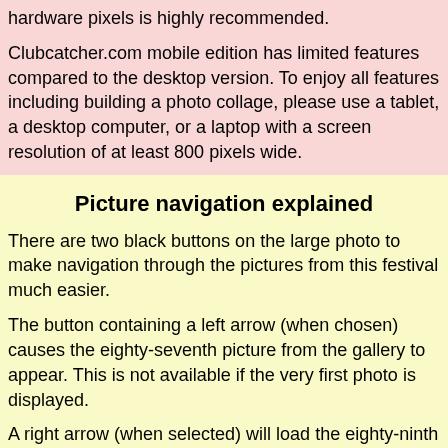hardware pixels is highly recommended.
Clubcatcher.com mobile edition has limited features compared to the desktop version. To enjoy all features including building a photo collage, please use a tablet, a desktop computer, or a laptop with a screen resolution of at least 800 pixels wide.
Picture navigation explained
There are two black buttons on the large photo to make navigation through the pictures from this festival much easier.
The button containing a left arrow (when chosen) causes the eighty-seventh picture from the gallery to appear. This is not available if the very first photo is displayed.
A right arrow (when selected) will load the eighty-ninth picture. This does not appear when the final photo of the gallery is shown.